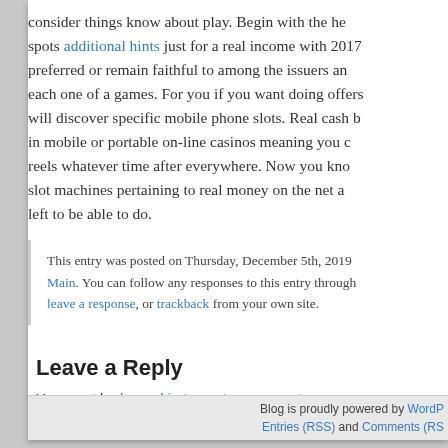consider things know about play. Begin with the he spots additional hints just for a real income with 2017 preferred or remain faithful to among the issuers an each one of a games. For you if you want doing offers will discover specific mobile phone slots. Real cash b in mobile or portable on-line casinos meaning you reels whatever time after everywhere. Now you kno slot machines pertaining to real money on the net a left to be able to do.
This entry was posted on Thursday, December 5th, 2019 Main. You can follow any responses to this entry through leave a response, or trackback from your own site.
Leave a Reply
You must be logged in to post a comment.
Blog is proudly powered by WordPress. Entries (RSS) and Comments (RSS).